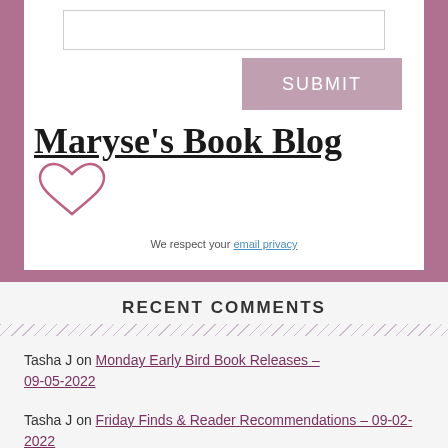[Figure (screenshot): White card with text input box, a pink SUBMIT button, Maryse's Book Blog logo with heart, and email privacy text]
RECENT COMMENTS
Tasha J on Monday Early Bird Book Releases – 09-05-2022
Tasha J on Friday Finds & Reader Recommendations – 09-02-2022
R. Renee on Monday Early Bird Book Releases –